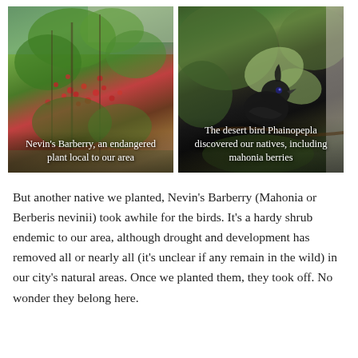[Figure (photo): Nevin's Barberry plant with red berries, an endangered plant local to the area, with overlaid white caption text]
[Figure (photo): Dark bird (Phainopepla) perched among green leaves, a desert bird that discovered native plants including mahonia berries, with overlaid white caption text]
But another native we planted, Nevin's Barberry (Mahonia or Berberis nevinii) took awhile for the birds. It's a hardy shrub endemic to our area, although drought and development has removed all or nearly all (it's unclear if any remain in the wild) in our city's natural areas. Once we planted them, they took off. No wonder they belong here.